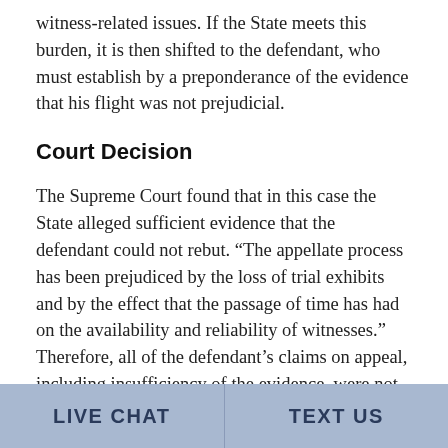witness-related issues. If the State meets this burden, it is then shifted to the defendant, who must establish by a preponderance of the evidence that his flight was not prejudicial.
Court Decision
The Supreme Court found that in this case the State alleged sufficient evidence that the defendant could not rebut. “The appellate process has been prejudiced by the loss of trial exhibits and by the effect that the passage of time has had on the availability and reliability of witnesses.” Therefore, all of the defendant’s claims on appeal, including insufficiency of the evidence, were not reviewable because the doctrine applied.
LIVE CHAT   TEXT US